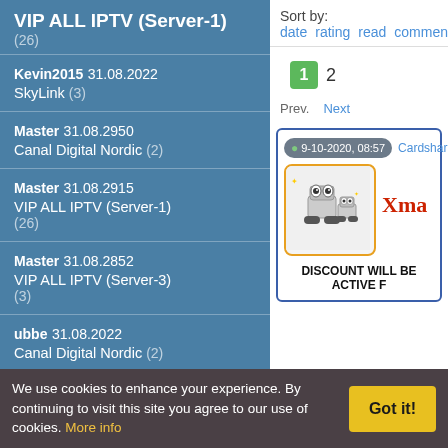VIP ALL IPTV (Server-1) (26)
Kevin2015 31.08.2022 SkyLink (3)
Master 31.08.2950 Canal Digital Nordic (2)
Master 31.08.2915 VIP ALL IPTV (Server-1) (26)
Master 31.08.2852 VIP ALL IPTV (Server-3) (3)
ubbe 31.08.2022 Canal Digital Nordic (2)
Sort by: date rating read comments
1 2 Prev. Next
9-10-2020, 08:57 Cardshare
[Figure (photo): Robot characters illustration with WALL-E style robots]
Xma
DISCOUNT WILL BE ACTIVE F
We use cookies to enhance your experience. By continuing to visit this site you agree to our use of cookies. More info